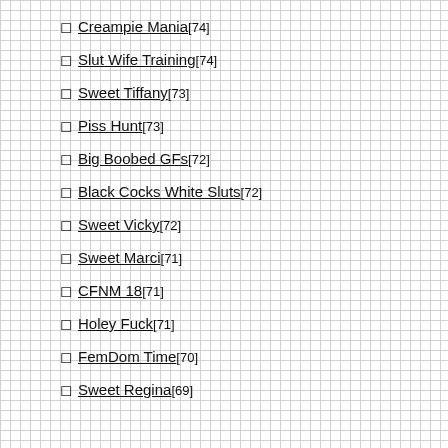Creampie Mania[74]
Slut Wife Training[74]
Sweet Tiffany[73]
Piss Hunt[73]
Big Boobed GFs[72]
Black Cocks White Sluts[72]
Sweet Vicky[72]
Sweet Marci[71]
CFNM 18[71]
Holey Fuck[71]
FemDom Time[70]
Sweet Regina[69]